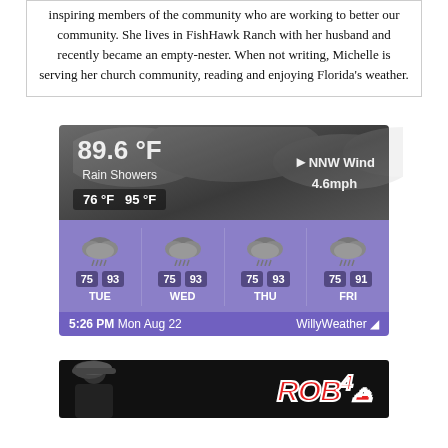inspiring members of the community who are working to better our community. She lives in FishHawk Ranch with her husband and recently became an empty-nester. When not writing, Michelle is serving her church community, reading and enjoying Florida's weather.
[Figure (screenshot): WillyWeather app screenshot showing 89.6°F Rain Showers, NNW Wind 4.6mph, range 76°F to 95°F, and 4-day forecast for TUE/WED/THU/FRI all showing rain showers with temps 75/93 or 75/91, captured at 5:26 PM Mon Aug 22]
[Figure (photo): Dark background image with a person in a baseball cap on the left and red stylized 'ROB' logo text on the right]